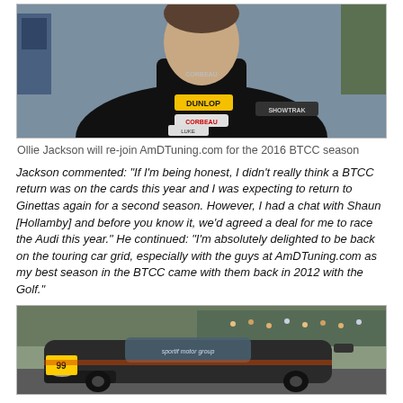[Figure (photo): Ollie Jackson in black racing suit with Dunlop, Corbeau, Showtrak logos, standing at a racing circuit]
Ollie Jackson will re-join AmDTuning.com for the 2016 BTCC season
Jackson commented: "If I'm being honest, I didn't really think a BTCC return was on the cards this year and I was expecting to return to Ginettas again for a second season. However, I had a chat with Shaun [Hollamby] and before you know it, we'd agreed a deal for me to race the Audi this year." He continued: "I'm absolutely delighted to be back on the touring car grid, especially with the guys at AmDTuning.com as my best season in the BTCC came with them back in 2012 with the Golf."
[Figure (photo): A touring car (Audi) on a racing circuit with 'sportif motor group' branding on the windscreen, spectators visible in background]